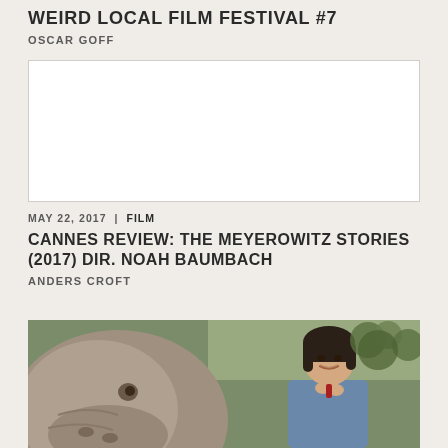WEIRD LOCAL FILM FESTIVAL #7
OSCAR GOFF
[Figure (photo): White/blank rectangular image placeholder]
MAY 22, 2017 | FILM
CANNES REVIEW: THE MEYEROWITZ STORIES (2017) DIR. NOAH BAUMBACH
ANDERS CROFT
[Figure (photo): Photo showing a large animal (hippo or similar) close-up on the left and a young Asian girl smiling on the right, outdoors with greenery in background]